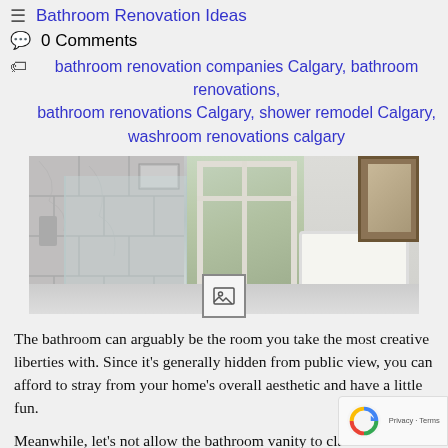Bathroom Renovation Ideas
0 Comments
bathroom renovation companies Calgary, bathroom renovations, bathroom renovations Calgary, shower remodel Calgary, washroom renovations calgary
[Figure (photo): A renovated bathroom featuring marble tiles, glass shower enclosure, freestanding white bathtub, arched window with greenery outside, and a picture frame on the wall.]
The bathroom can arguably be the room you take the most creative liberties with. Since it’s generally hidden from public view, you can afford to stray from your home’s overall aesthetic and have a little fun.
Meanwhile, let’s not allow the bathroom vanity to claim all the glory. The shower is an important feature of any washroom, so why not go all out?